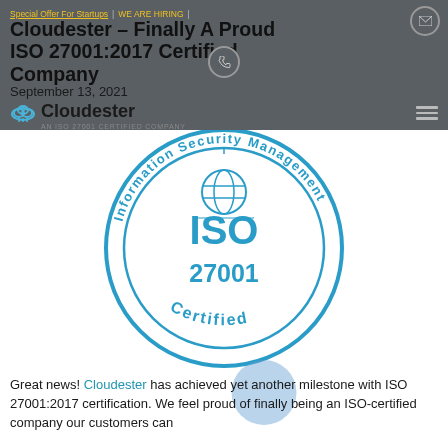Cloudester – Finally A Proud ISO 27001:2017 Certified Company
September 13, 2021
[Figure (logo): Cloudester logo with cloud icon and text 'AN ISO 27001 CERTIFIED COMPANY']
[Figure (illustration): ISO 27001 Information Security Management Certified circular badge/seal in blue]
Great news! Cloudester has achieved yet another milestone with ISO 27001:2017 certification. We feel proud of finally being an ISO-certified company our customers can